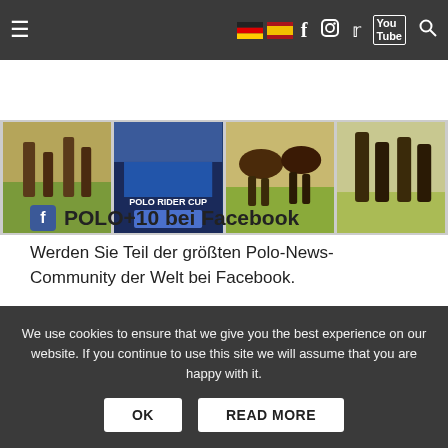Navigation bar with hamburger menu, German and Spanish flags, Facebook, Instagram, Twitter, YouTube, and search icons
[Figure (photo): Strip of four polo sport thumbnail photos showing horses and riders; second thumbnail reads POLO RIDER CUP]
POLO+10 bei Facebook
Werden Sie Teil der größten Polo-News-Community der Welt bei Facebook.
Teilen: (Facebook icon) (Twitter icon) (Google+ icon) (Pinterest icon)
We use cookies to ensure that we give you the best experience on our website. If you continue to use this site we will assume that you are happy with it. OK READ MORE